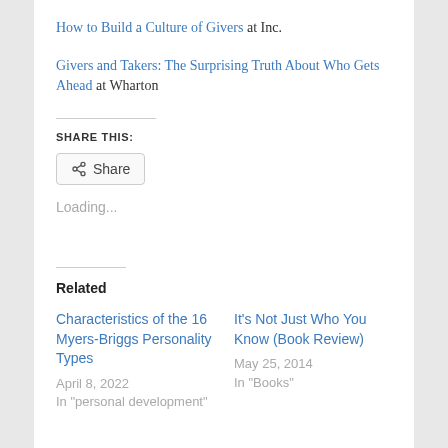How to Build a Culture of Givers at Inc.
Givers and Takers: The Surprising Truth About Who Gets Ahead at Wharton
Share This:
Loading...
Related
Characteristics of the 16 Myers-Briggs Personality Types
April 8, 2022
In "personal development"
It's Not Just Who You Know (Book Review)
May 25, 2014
In "Books"